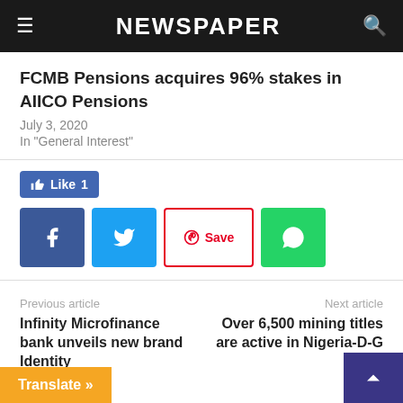NEWSPAPER
FCMB Pensions acquires 96% stakes in AIICO Pensions
July 3, 2020
In "General Interest"
[Figure (infographic): Social sharing bar with Like (1), Facebook, Twitter, Pinterest Save, and WhatsApp buttons]
Previous article
Next article
Infinity Microfinance bank unveils new brand Identity
Over 6,500 mining titles are active in Nigeria-D-G Cada
Translate »